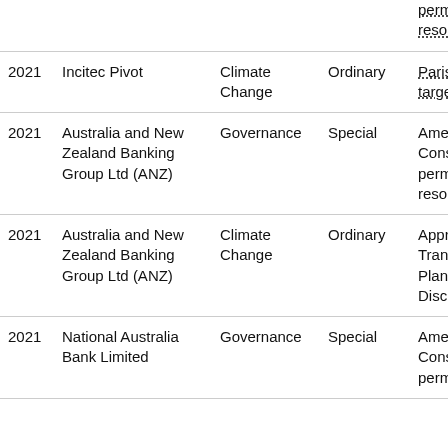| Year | Company | Category | Resolution Type | Description |
| --- | --- | --- | --- | --- |
|  |  |  |  | perm...
resol... |
| 2021 | Incitec Pivot | Climate Change | Ordinary | Paris...
targe... |
| 2021 | Australia and New Zealand Banking Group Ltd (ANZ) | Governance | Special | Ame...
Cons...
perm...
resol... |
| 2021 | Australia and New Zealand Banking Group Ltd (ANZ) | Climate Change | Ordinary | Appr...
Trans...
Plann...
Discl... |
| 2021 | National Australia Bank Limited | Governance | Special | Ame...
Cons...
perm... |